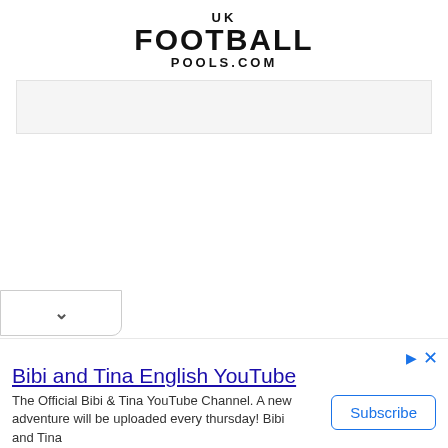UK FOOTBALL POOLS.COM
[Figure (other): Light gray banner/advertisement placeholder bar]
[Figure (screenshot): Dropdown tab with chevron/down arrow at bottom left of page]
Bibi and Tina English YouTube
The Official Bibi & Tina YouTube Channel. A new adventure will be uploaded every thursday! Bibi and Tina
Subscribe